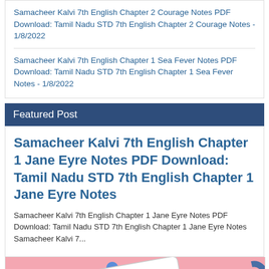Samacheer Kalvi 7th English Chapter 2 Courage Notes PDF Download: Tamil Nadu STD 7th English Chapter 2 Courage Notes - 1/8/2022
Samacheer Kalvi 7th English Chapter 1 Sea Fever Notes PDF Download: Tamil Nadu STD 7th English Chapter 1 Sea Fever Notes - 1/8/2022
Featured Post
Samacheer Kalvi 7th English Chapter 1 Jane Eyre Notes PDF Download: Tamil Nadu STD 7th English Chapter 1 Jane Eyre Notes
Samacheer Kalvi 7th English Chapter 1 Jane Eyre Notes PDF Download: Tamil Nadu STD 7th English Chapter 1 Jane Eyre Notes Samacheer Kalvi 7...
[Figure (illustration): Illustration of a notepad with a pen on a pink background with geometric shapes (circles, diamonds, squares in blue and yellow)]